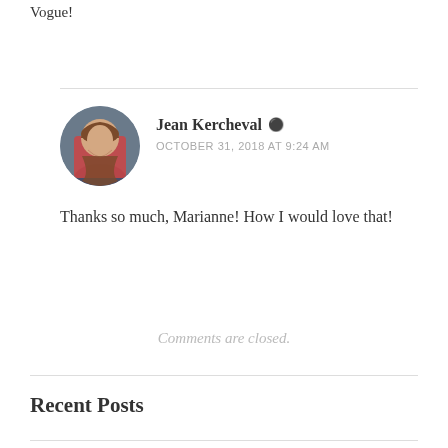Vogue!
Jean Kercheval
OCTOBER 31, 2018 AT 9:24 AM
Thanks so much, Marianne! How I would love that!
Comments are closed.
Recent Posts